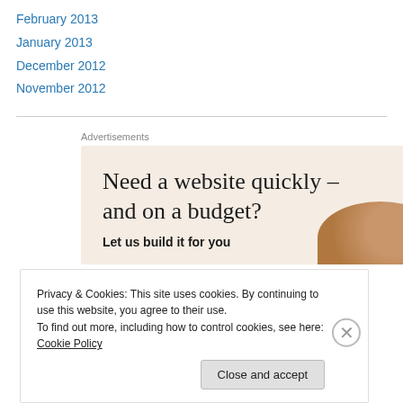February 2013
January 2013
December 2012
November 2012
[Figure (other): Advertisement banner: 'Need a website quickly – and on a budget? Let us build it for you' on a beige background with a round image in the bottom right corner.]
Privacy & Cookies: This site uses cookies. By continuing to use this website, you agree to their use.
To find out more, including how to control cookies, see here: Cookie Policy
Close and accept